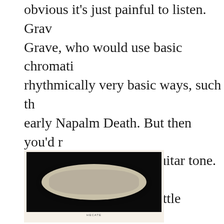obvious it's just painful to listen. Grave, who would use basic chromatic rhythmically very basic ways, such th early Napalm Death. But then you'd r you really enjoyed the guitar tone. So plodding progressions, little harmonic compelling rhythm — unlike Demoncy this is just minimal. I'd like to love thi again.
[Figure (illustration): Album cover art showing a dark/black background with a curved white or light-colored shape (possibly a horn or crescent form) with decorative details, on a cream-colored outer border. Small text at the bottom of the cream border.]